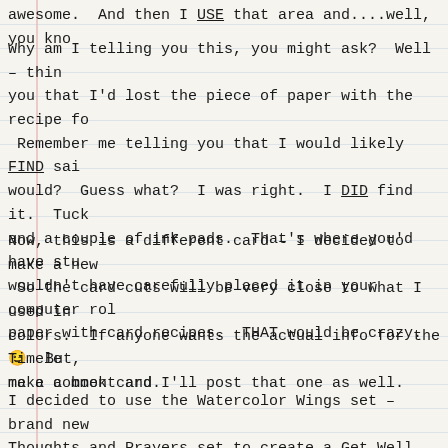awesome.  And then I USE that area and....well, you kno
Why am I telling you this, you might ask?  Well - thin you that I'd lost the piece of paper with the recipe fo Remember me telling you that I would likely FIND sai would?  Guess what?  I was right.  I DID find it.  Tuck and a couple of ink pads.  That's where you'd have stu wouldn't have carefully placed it in your computer rol paper with card recipes.  THAT would be crazy. 😉 But, make a book card.
Now, this is a different card - I decided to make a new So the card cuts will be very close to what I used in colors.  If anyone wants the actual info for the Timele me a comment and I'll post that one as well.
I decided to use the Watercolor Wings set - brand ne Thoughts and Prayers set to create a Get Well card.  T